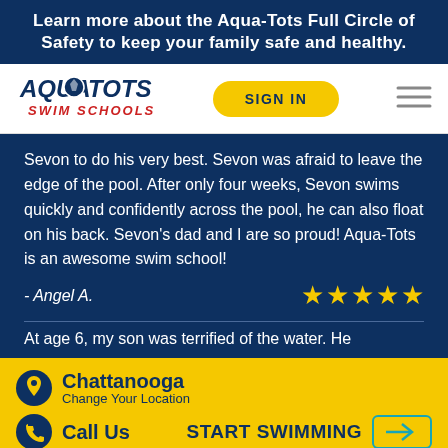Learn more about the Aqua-Tots Full Circle of Safety to keep your family safe and healthy.
[Figure (logo): Aqua-Tots Swim Schools logo]
Sevon to do his very best. Sevon was afraid to leave the edge of the pool. After only four weeks, Sevon swims quickly and confidently across the pool, he can also float on his back. Sevon's dad and I are so proud! Aqua-Tots is an awesome swim school!
- Angel A.
At age 6, my son was terrified of the water. He
Chattanooga
Change Your Location
Call Us
START SWIMMING